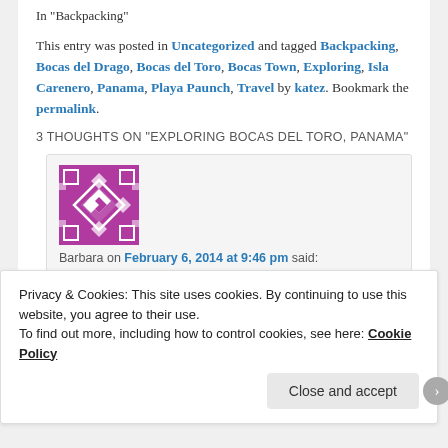In "Backpacking"
This entry was posted in Uncategorized and tagged Backpacking, Bocas del Drago, Bocas del Toro, Bocas Town, Exploring, Isla Carenero, Panama, Playa Paunch, Travel by katez. Bookmark the permalink.
3 THOUGHTS ON "EXPLORING BOCAS DEL TORO, PANAMA"
[Figure (illustration): Purple/magenta avatar icon with white geometric diamond pattern]
Barbara on February 6, 2014 at 9:46 pm said:
Privacy & Cookies: This site uses cookies. By continuing to use this website, you agree to their use. To find out more, including how to control cookies, see here: Cookie Policy